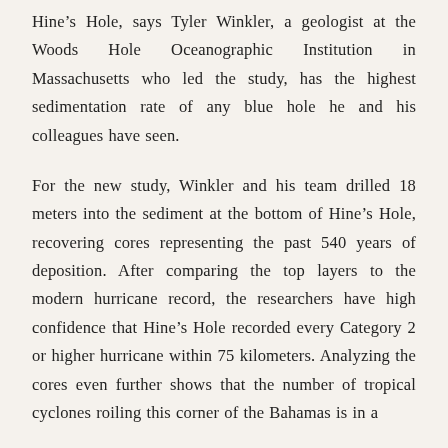Hine's Hole, says Tyler Winkler, a geologist at the Woods Hole Oceanographic Institution in Massachusetts who led the study, has the highest sedimentation rate of any blue hole he and his colleagues have seen.
For the new study, Winkler and his team drilled 18 meters into the sediment at the bottom of Hine's Hole, recovering cores representing the past 540 years of deposition. After comparing the top layers to the modern hurricane record, the researchers have high confidence that Hine's Hole recorded every Category 2 or higher hurricane within 75 kilometers. Analyzing the cores even further shows that the number of tropical cyclones roiling this corner of the Bahamas is in a